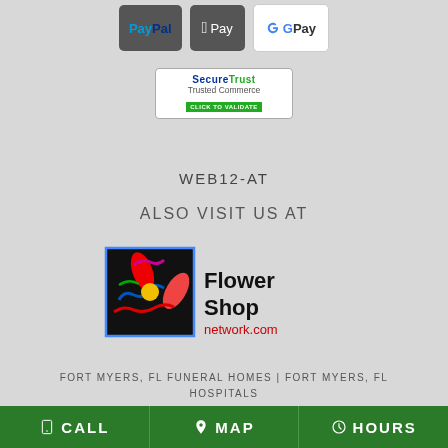[Figure (logo): Payment method badges: PayPal, Apple Pay, Google Pay]
[Figure (logo): SecureTrust Trusted Commerce - Click to Validate badge]
WEB12-AT
ALSO VISIT US AT
[Figure (logo): Flower Shop Network .com logo with colorful flower graphic]
FORT MYERS, FL FUNERAL HOMES | FORT MYERS, FL HOSPITALS
FORT MYERS, FL WEATHER | FL STATE GOVERNMENT SITE
CALL  MAP  HOURS